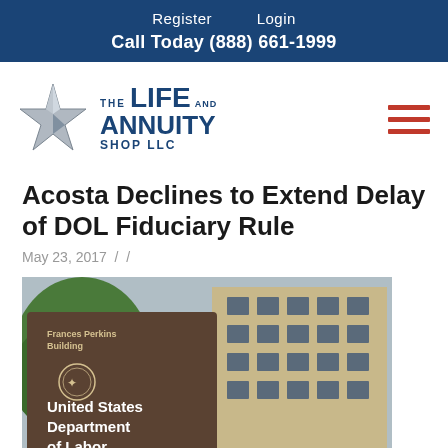Register   Login
Call Today (888) 661-1999
[Figure (logo): The Life and Annuity Shop LLC logo with silver star graphic]
Acosta Declines to Extend Delay of DOL Fiduciary Rule
May 23, 2017  /  /
[Figure (photo): Photo of United States Department of Labor Frances Perkins Building sign with building in background]